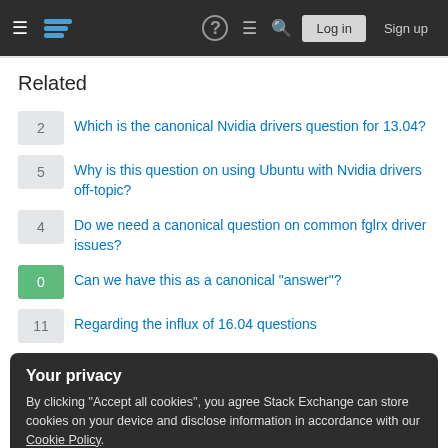Stack Exchange navigation header with Log in and Sign up buttons
Related
2 Which is the canonical Nvidia drivers question for 13.04?
5 Why is this question on using Ubuntu with Nvidia drivers off-topic?
4 Do we need a canonical question on common fglrx driver issues?
0 Can we have this as a canonical "answer"?
11 Regarding the influx of 16.04 questions
Your privacy
By clicking "Accept all cookies", you agree Stack Exchange can store cookies on your device and disclose information in accordance with our Cookie Policy.
15 Policy Change Proposal: "End of Standard Support" for ESM